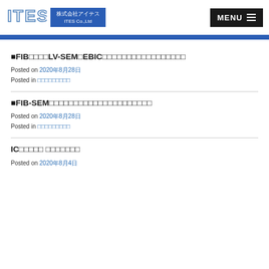株式会社アイテス ITES Co.,Ltd | MENU
■FIB□□□□LV-SEM□EBIC□□□□□□□□□□□□□□□□□
Posted on 2020年8月28日
Posted in □□□□□□□□□
■FIB-SEM□□□□□□□□□□□□□□□□□□□□□
Posted on 2020年8月28日
Posted in □□□□□□□□□
IC□□□□□ □□□□□□□
Posted on 2020年8月4日